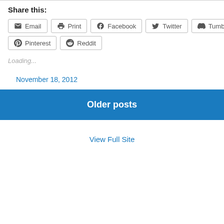Share this:
Email
Print
Facebook
Twitter
Tumblr
Pinterest
Reddit
Loading...
November 18, 2012
Older posts
View Full Site